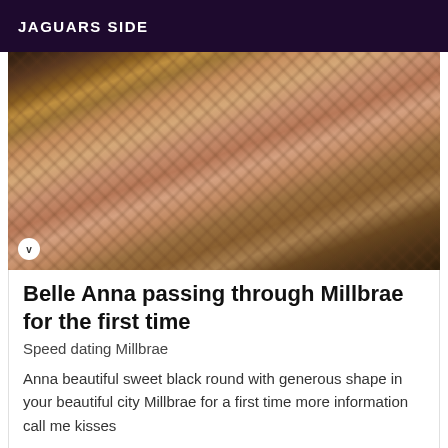JAGUARS SIDE
[Figure (photo): Close-up photo showing a person wearing fishnet stockings and animal print fabric, likely a promotional escort/adult services listing image]
Belle Anna passing through Millbrae for the first time
Speed dating Millbrae
Anna beautiful sweet black round with generous shape in your beautiful city Millbrae for a first time more information call me kisses
[Figure (photo): Partial photo visible at bottom of page, appears to show an interior room]